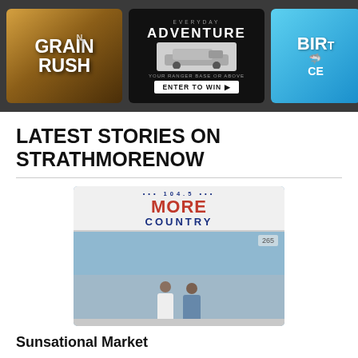[Figure (infographic): Banner advertisement strip with three ads: Grain Rush, Everyday Adventure (Enter to Win), and a birthday/shark themed ad]
LATEST STORIES ON STRATHMORENOW
[Figure (photo): Two women standing in front of a 104.5 More Country radio station building, numbered 265]
Sunsational Market